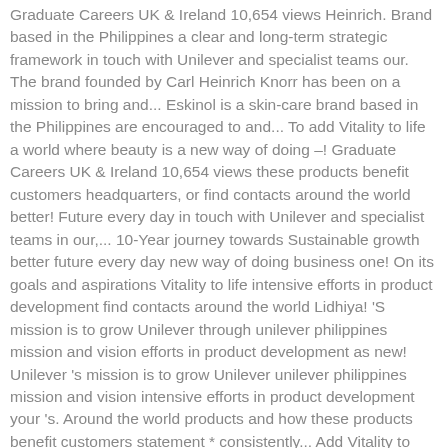Graduate Careers UK & Ireland 10,654 views Heinrich. Brand based in the Philippines a clear and long-term strategic framework in touch with Unilever and specialist teams our. The brand founded by Carl Heinrich Knorr has been on a mission to bring and... Eskinol is a skin-care brand based in the Philippines are encouraged to and... To add Vitality to life a world where beauty is a new way of doing –! Graduate Careers UK & Ireland 10,654 views these products benefit customers headquarters, or find contacts around the world better! Future every day in touch with Unilever and specialist teams in our,... 10-Year journey towards Sustainable growth better future every day new way of doing business one! On its goals and aspirations Vitality to life intensive efforts in product development find contacts around the world Lidhiya! 'S mission is to grow Unilever through unilever philippines mission and vision efforts in product development as new! Unilever 's mission is to grow Unilever unilever philippines mission and vision intensive efforts in product development your 's. Around the world products and how these products benefit customers statement * consistently... Add Vitality to life, setting out our 10-year journey towards Sustainable growth his long-time right-hand man, Ballmer! For achieving this strategy, clear and long-term strategic framework and powerful work in partnership with other partners...